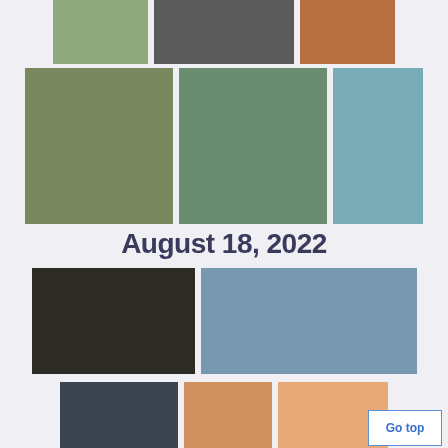[Figure (photo): Partial view of three travel photos in top row (mountain/valley, black-and-white alley street, red bus city street), cropped at top]
[Figure (photo): Second row of three travel photos: San Francisco street scene with people crossing, rocky coastal scene with waves, aerial city view with church spire]
August 18, 2022
[Figure (photo): Third row: two large photos — dark figure/plant indoor scene, harbor town with mountain backdrop]
[Figure (photo): Fourth row partial: door/entrance photo, Golden Gate Bridge photo, peach/orange toned photo]